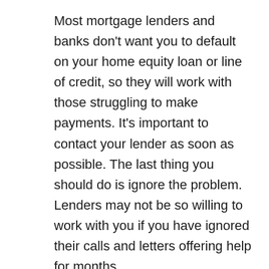Most mortgage lenders and banks don't want you to default on your home equity loan or line of credit, so they will work with those struggling to make payments. It's important to contact your lender as soon as possible. The last thing you should do is ignore the problem. Lenders may not be so willing to work with you if you have ignored their calls and letters offering help for months.
When it comes to what the lender can actually do, there are a few options. Some lenders will offer certain borrowers a modification of their home equity loan or line of credit. Modifications can include